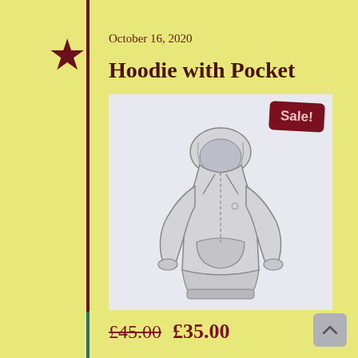October 16, 2020
Hoodie with Pocket
[Figure (illustration): Sketch illustration of a hoodie with a front pocket and drawstring hood, shown on a light blue-grey background with a dark red 'Sale!' badge in the top right corner.]
£45.00  £35.00